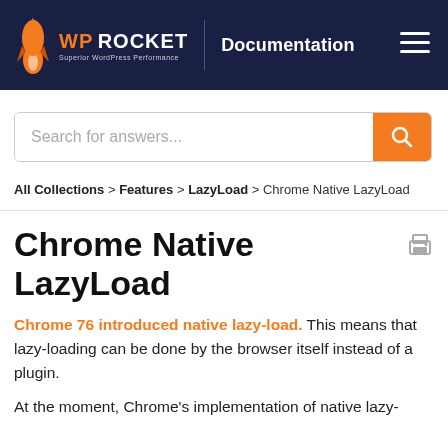WP ROCKET | Documentation
[Figure (screenshot): Search bar with orange search button and placeholder text 'Search for answers...']
All Collections > Features > LazyLoad > Chrome Native LazyLoad
Chrome Native LazyLoad
Chrome 76 introduced native lazy-load. This means that lazy-loading can be done by the browser itself instead of a plugin.
At the moment, Chrome's implementation of native lazy-